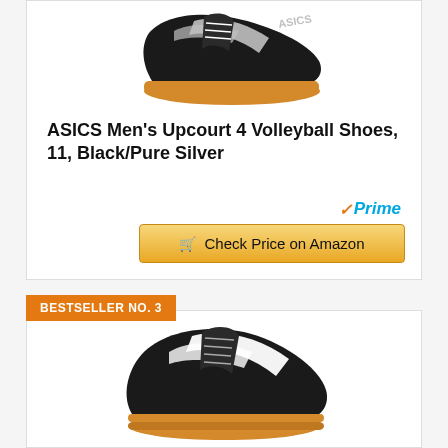[Figure (photo): ASICS volleyball shoe, black with silver stripe, viewed from side/front angle, with tan/gum sole, partially cropped at top]
ASICS Men's Upcourt 4 Volleyball Shoes, 11, Black/Pure Silver
Prime
Check Price on Amazon
BESTSELLER NO. 3
[Figure (photo): ASICS volleyball shoe, black with white stripe, viewed from side angle, with tan/gum sole, shown in full]